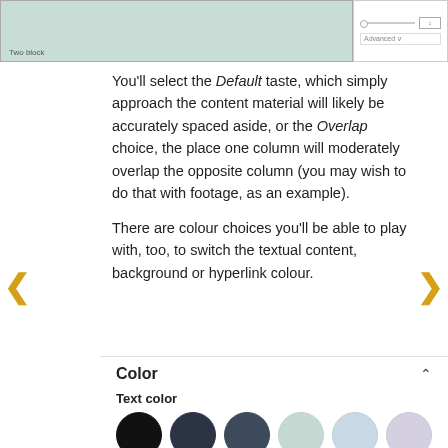[Figure (screenshot): Screenshot strip showing a content editor interface with a teal/green panel on the left and settings panel on the right with slider and dropdown]
You'll select the Default taste, which simply approach the content material will likely be accurately spaced aside, or the Overlap choice, the place one column will moderately overlap the opposite column (you may wish to do that with footage, as an example).
There are colour choices you'll be able to play with, too, to switch the textual content, background or hyperlink colour.
[Figure (screenshot): Color settings panel showing 'Color' section header with chevron, 'Text color' label, and two rows of color swatches: black, dark navy, slate, mint, light blue, lavender in first row; blush, sand, cream, white in second row]